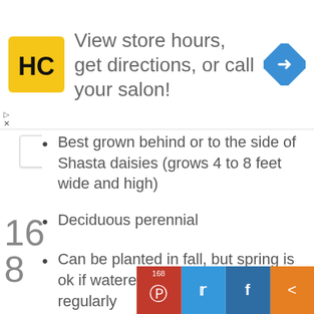[Figure (advertisement): Ad banner with HC logo (yellow square with HC text), text 'View store hours, get directions, or call your salon!', and a blue diamond direction arrow icon on the right]
Best grown behind or to the side of Shasta daisies (grows 4 to 8 feet wide and high)
Deciduous perennial
Can be planted in fall, but spring is ok if watered and monitored regularly
16 8  168 (Pinterest share count)